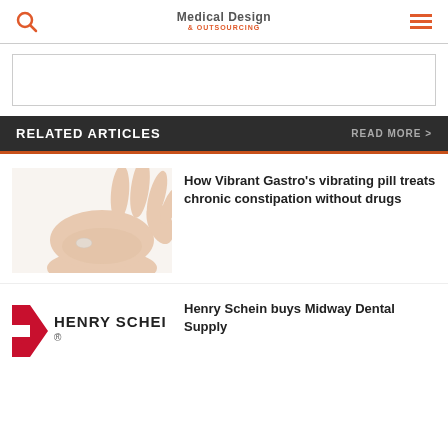Medical Design & Outsourcing
[Figure (other): Advertisement placeholder box]
RELATED ARTICLES  READ MORE >
[Figure (photo): Hand holding a small white vibrating pill]
How Vibrant Gastro’s vibrating pill treats chronic constipation without drugs
[Figure (logo): Henry Schein logo with red/white flag mark]
Henry Schein buys Midway Dental Supply